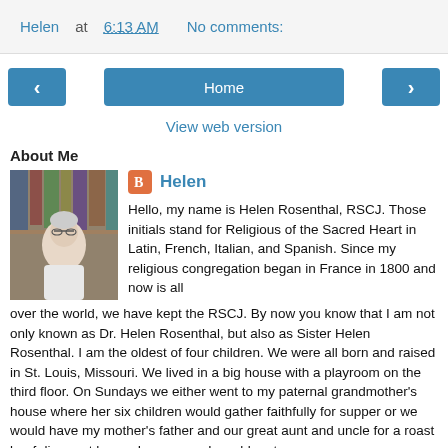Helen at 6:13 AM   No comments:
< Home >
View web version
About Me
[Figure (photo): Profile photo of Helen Rosenthal, an elderly woman with glasses, seated in front of bookshelves]
Helen
Hello, my name is Helen Rosenthal, RSCJ. Those initials stand for Religious of the Sacred Heart in Latin, French, Italian, and Spanish. Since my religious congregation began in France in 1800 and now is all over the world, we have kept the RSCJ. By now you know that I am not only known as Dr. Helen Rosenthal, but also as Sister Helen Rosenthal. I am the oldest of four children. We were all born and raised in St. Louis, Missouri. We lived in a big house with a playroom on the third floor. On Sundays we either went to my paternal grandmother's house where her six children would gather faithfully for supper or we would have my mother's father and our great aunt and uncle for a roast beef dinner at home. In summer, I would go to